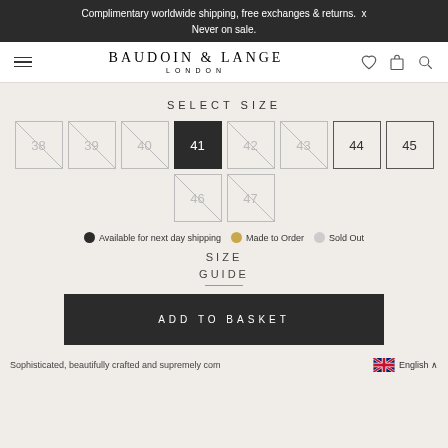Complimentary worldwide shipping, free exchanges & returns.  x
Never on sale.
[Figure (logo): Baudoin & Lange London logo with hamburger menu, heart, bag, and search icons]
SELECT SIZE
[Figure (other): Size selector grid with sizes 38, 39, 40, 41 (selected/black), 42, 43, 44, 45, 46, 47. Sizes 38,39,40,42,43,46,47 have diagonal strikethrough (sold out). 44 and 45 are available (outlined). 41 is selected (black).]
Available for next day shipping   Made to Order   Sold Out
SIZE
GUIDE
ADD TO BASKET
Sophisticated, beautifully crafted and supremely com  English